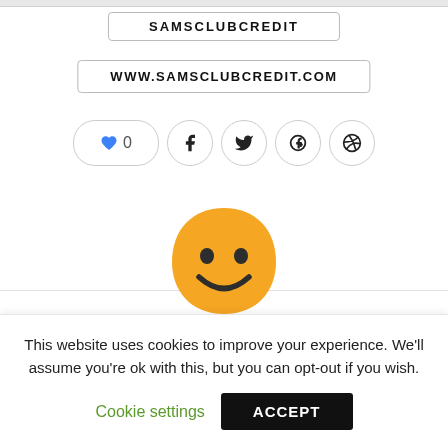SAMSCLUBCREDIT
WWW.SAMSCLUBCREDIT.COM
[Figure (other): Social sharing buttons row: heart like (0), Facebook, Twitter, Google+, Pinterest]
[Figure (illustration): Smiley face emoji — yellow rounded head with dark eyes and smile]
This website uses cookies to improve your experience. We'll assume you're ok with this, but you can opt-out if you wish.
Cookie settings
ACCEPT